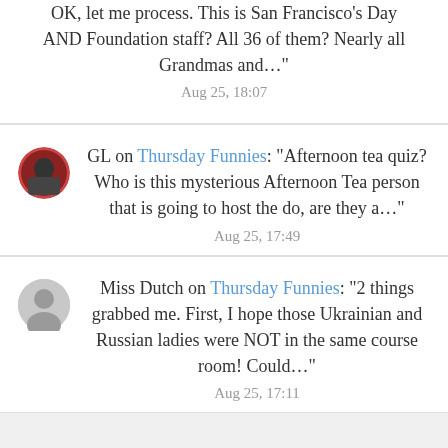OK, let me process. This is San Francisco's Day AND Foundation staff? All 36 of them? Nearly all Grandmas and…"
Aug 25, 18:07
GL on Thursday Funnies: "Afternoon tea quiz? Who is this mysterious Afternoon Tea person that is going to host the do, are they a…"
Aug 25, 17:49
Miss Dutch on Thursday Funnies: "2 things grabbed me. First, I hope those Ukrainian and Russian ladies were NOT in the same course room! Could…"
Aug 25, 17:11